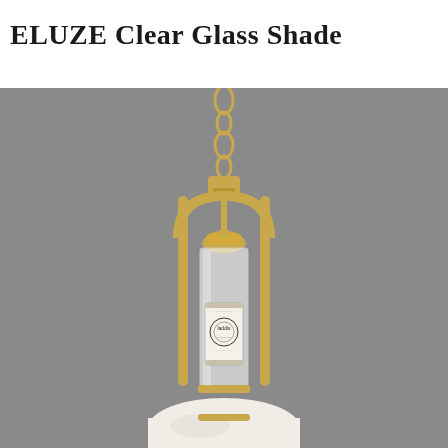ELUZE Clear Glass Shade
[Figure (photo): A pendant light fixture with a gold/brass chain and arched gold metal frame. The fixture holds a clear glass cylindrical shade with a product label sticker on it. A small gold dome-shaped cap sits above the glass. The background is gray. The bottom of the fixture shows a white frosted glass globe shade.]